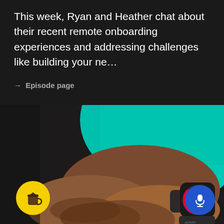This week, Ryan and Heather chat about their recent remote onboarding experiences and addressing challenges like building your ne...
→ Episode page
[Figure (photo): Close-up photo of a person wearing a smartwatch (Apple Watch) showing colorful activity rings on the display. The person is wearing a teal/turquoise top. Two circular buttons overlay the photo: a yellow coffee cup button on the bottom left and a blue microphone button on the bottom right.]